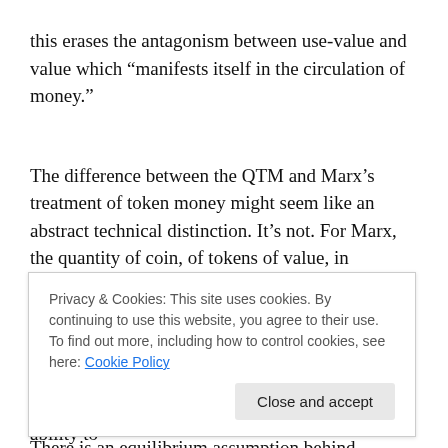this erases the antagonism between use-value and value which “manifests itself in the circulation of money.”
The difference between the QTM and Marx’s treatment of token money might seem like an abstract technical distinction. It’s not. For Marx, the quantity of coin, of tokens of value, in circulation change the unit of account but they don’t change the value of gold or commodities. They just change the unit names that these values are measured in.
There is an equilibrium assumption behind Hume’s QTM
Privacy & Cookies: This site uses cookies. By continuing to use this website, you agree to their use.
To find out more, including how to control cookies, see here: Cookie Policy
the entire point of money in the first place: it’s ability to